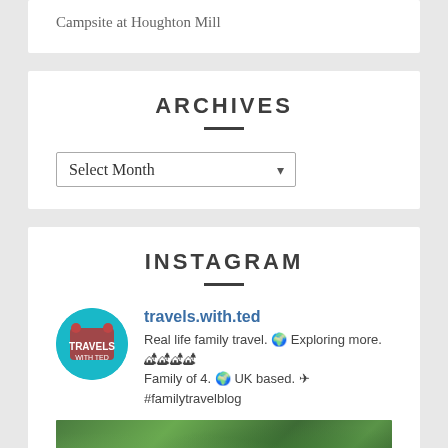Campsite at Houghton Mill
ARCHIVES
Select Month
INSTAGRAM
travels.with.ted
Real life family travel. 🌍 Exploring more. 🏕🏕🏕🏕 Family of 4. 🌍 UK based. ✈ #familytravelblog
[Figure (photo): Outdoor nature/forest photo showing green trees and foliage]